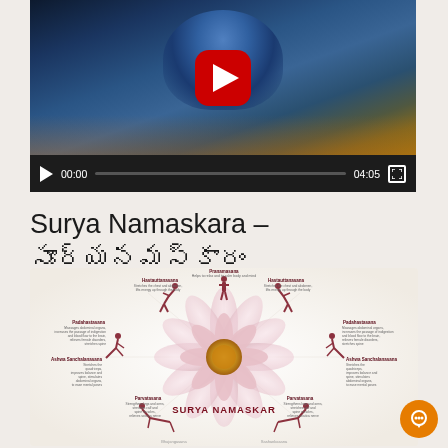[Figure (screenshot): Embedded YouTube video player showing a painting of a Hindu deity (Shiva) with a temple scene. Controls show 00:00 / 04:05 with play button and progress bar.]
Surya Namaskara – సూర్యనమస్కారం
[Figure (infographic): Surya Namaskar (Sun Salutation) circular infographic showing 12 yoga poses arranged around a central lotus mandala flower. Each pose is labeled in English with descriptions. Poses include Pranamasana, Hastauttanasana, Padahastasana, Ashwa Sanchalanasana, Parvatasana, and others. Center text reads SURYA NAMASKAR.]